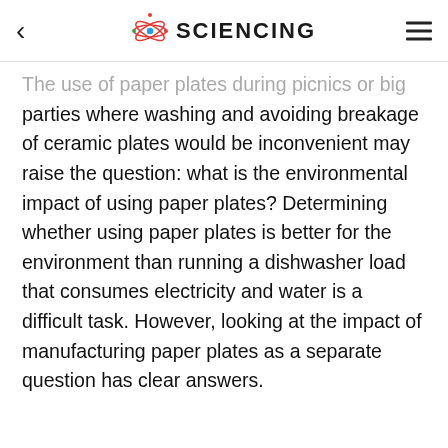SCIENCING
The use of paper plates during picnics or big parties where washing and avoiding breakage of ceramic plates would be inconvenient may raise the question: what is the environmental impact of using paper plates? Determining whether using paper plates is better for the environment than running a dishwasher load that consumes electricity and water is a difficult task. However, looking at the impact of manufacturing paper plates as a separate question has clear answers.